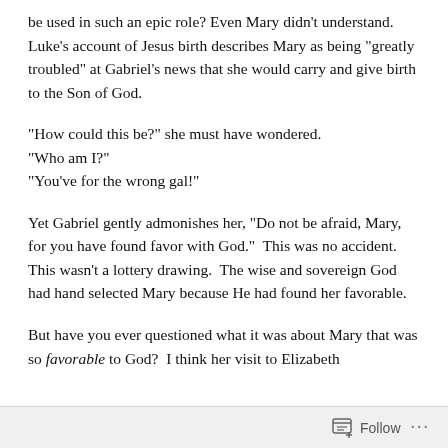be used in such an epic role? Even Mary didn't understand. Luke's account of Jesus birth describes Mary as being “greatly troubled” at Gabriel’s news that she would carry and give birth to the Son of God.
“How could this be?” she must have wondered.
“Who am I?”
“You’ve for the wrong gal!”
Yet Gabriel gently admonishes her, “Do not be afraid, Mary, for you have found favor with God.”  This was no accident.  This wasn’t a lottery drawing.  The wise and sovereign God had hand selected Mary because He had found her favorable.
But have you ever questioned what it was about Mary that was so favorable to God?  I think her visit to Elizabeth
Follow •••